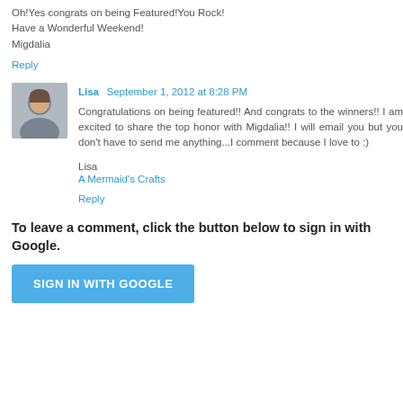Oh!Yes congrats on being Featured!You Rock!
Have a Wonderful Weekend!
Migdalia
Reply
Lisa  September 1, 2012 at 8:28 PM
Congratulations on being featured!! And congrats to the winners!! I am excited to share the top honor with Migdalia!! I will email you but you don't have to send me anything...I comment because I love to :)
Lisa
A Mermaid's Crafts
Reply
To leave a comment, click the button below to sign in with Google.
SIGN IN WITH GOOGLE